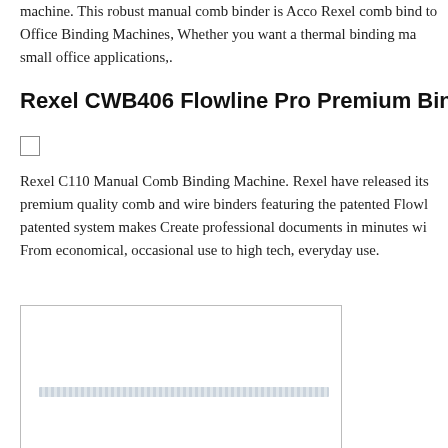machine. This robust manual comb binder is Acco Rexel comb bind to Office Binding Machines, Whether you want a thermal binding ma small office applications,.
Rexel CWB406 Flowline Pro Premium Binding Machi
[Figure (other): Small checkbox (unchecked square)]
Rexel C110 Manual Comb Binding Machine. Rexel have released its premium quality comb and wire binders featuring the patented Flowl patented system makes Create professional documents in minutes wi From economical, occasional use to high tech, everyday use.
[Figure (photo): A product image box with a blurred/redacted text label near the bottom, showing a binding machine product photo area with border.]